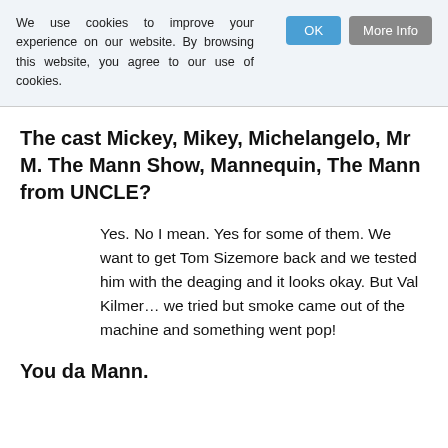We use cookies to improve your experience on our website. By browsing this website, you agree to our use of cookies.
The cast Mickey, Mikey, Michelangelo, Mr M. The Mann Show, Mannequin, The Mann from UNCLE?
Yes. No I mean. Yes for some of them. We want to get Tom Sizemore back and we tested him with the deaging and it looks okay. But Val Kilmer… we tried but smoke came out of the machine and something went pop!
You da Mann.